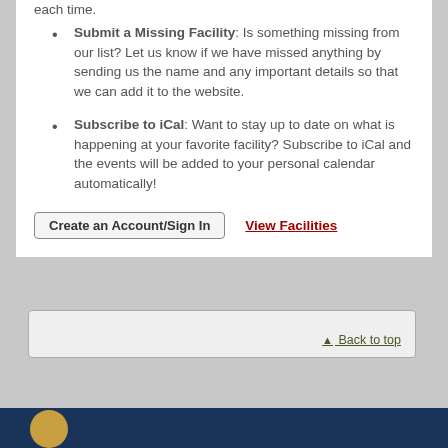Submit a Missing Facility: Is something missing from our list? Let us know if we have missed anything by sending us the name and any important details so that we can add it to the website.
Subscribe to iCal: Want to stay up to date on what is happening at your favorite facility? Subscribe to iCal and the events will be added to your personal calendar automatically!
Create an Account/Sign In
View Facilities
▲ Back to top